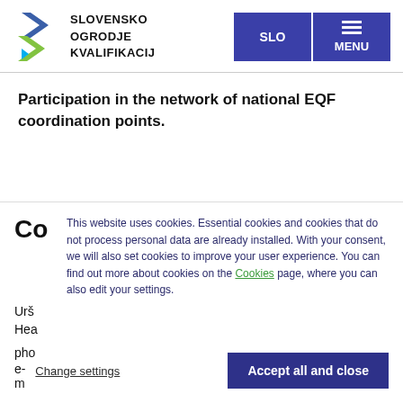[Figure (logo): Slovensko Ogrodje Kvalifikacij logo with blue and green arrow shapes and bold text]
Participation in the network of national EQF coordination points.
Co
This website uses cookies. Essential cookies and cookies that do not process personal data are already installed. With your consent, we will also set cookies to improve your user experience. You can find out more about cookies on the Cookies page, where you can also edit your settings.
Urš
Hea
pho
e-m
Change settings
Accept all and close